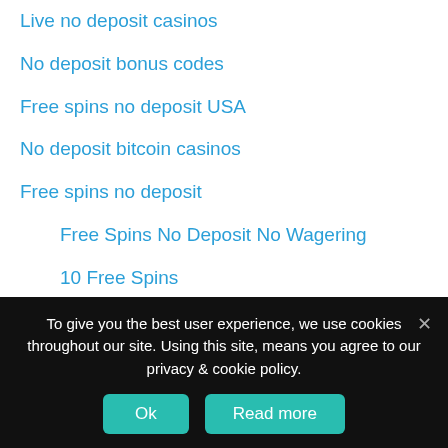Live no deposit casinos
No deposit bonus codes
Free spins no deposit USA
No deposit bitcoin casinos
Free spins no deposit
Free Spins No Deposit No Wagering
10 Free Spins
20 Free Spins
30 Free Spins
50 Free Spins
100 Free Spins
To give you the best user experience, we use cookies throughout our site. Using this site, means you agree to our privacy & cookie policy.